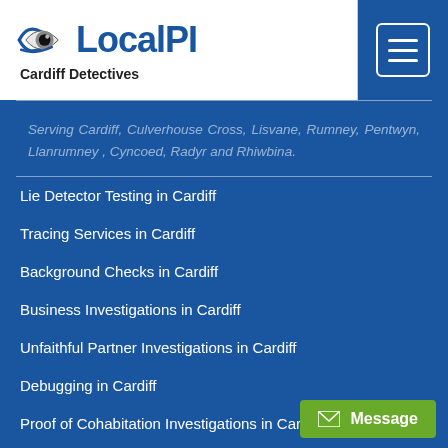[Figure (logo): LocalPI Cardiff Detectives logo with eye icon]
Serving Cardiff, Culverhouse Cross, Lisvane, Rumney, Pentwyn, Llanrumney , Cyncoed, Radyr and Rhiwbina.
Lie Detector Testing in Cardiff
Tracing Services in Cardiff
Background Checks in Cardiff
Business Investigations in Cardiff
Unfaithful Partner Investigations in Cardiff
Debugging in Cardiff
Proof of Cohabitation Investigations in Cardiff